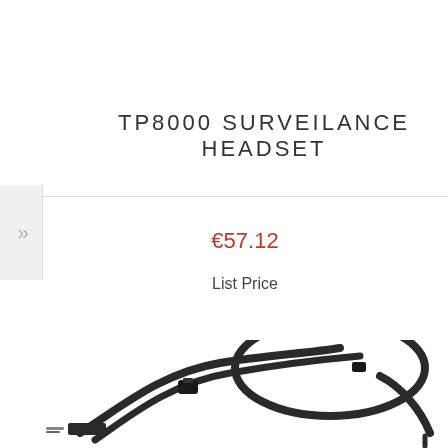TP8000 SURVEILANCE HEADSET
€57.12
List Price
[Figure (photo): Product photo of TP8000 Surveilance Headset showing dark/black coiled cables and plug connector against white background]